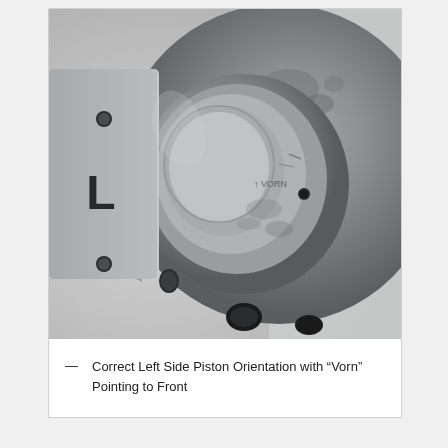[Figure (photo): Close-up photograph of a metal piston component viewed from the front. The piston has a circular concave face with a visible 'L' mark on the left side flange area. The metal surface shows wear marks and stamped text near the center. The component sits on a support stand against a light background.]
— Correct Left Side Piston Orientation with “Vorn” Pointing to Front